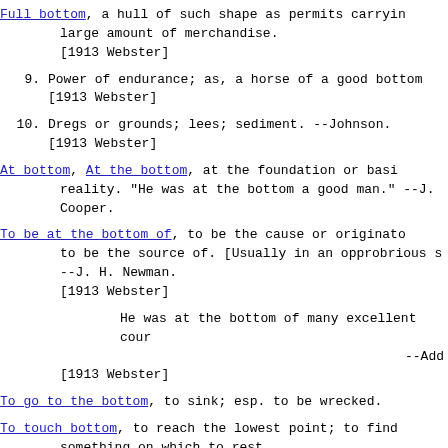Full bottom, a hull of such shape as permits carrying a large amount of merchandise. [1913 Webster]
9. Power of endurance; as, a horse of a good bottom. [1913 Webster]
10. Dregs or grounds; lees; sediment. --Johnson. [1913 Webster]
At bottom, At the bottom, at the foundation or basis; in reality. "He was at the bottom a good man." --J. Cooper.
To be at the bottom of, to be the cause or originator of; to be the source of. [Usually in an opprobrious s...] --J. H. Newman. [1913 Webster]
He was at the bottom of many excellent cour... --Add...
[1913 Webster]
To go to the bottom, to sink; esp. to be wrecked.
To touch bottom, to reach the lowest point; to find something on which to rest. [1913 Webster]